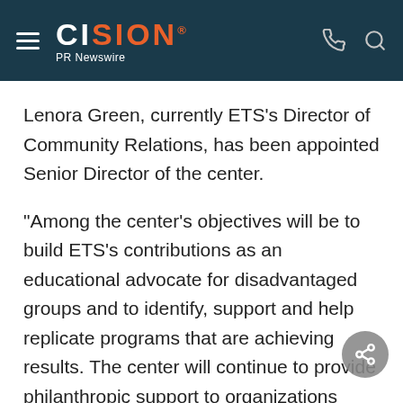CISION PR Newswire
Lenora Green, currently ETS's Director of Community Relations, has been appointed Senior Director of the center.
"Among the center's objectives will be to build ETS's contributions as an educational advocate for disadvantaged groups and to identify, support and help replicate programs that are achieving results. The center will continue to provide philanthropic support to organizations whose goals are aligned with our own," states Green. "In addition, our commitment to our local communities, volunteers and employee giving remains unchanged. We also